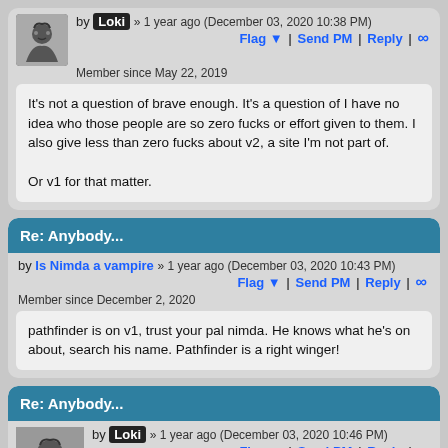by Loki » 1 year ago (December 03, 2020 10:38 PM)
Flag ▼ | Send PM | Reply | ∞
Member since May 22, 2019
It's not a question of brave enough. It's a question of I have no idea who those people are so zero fucks or effort given to them. I also give less than zero fucks about v2, a site I'm not part of.

Or v1 for that matter.
Re: Anybody...
by Is Nimda a vampire » 1 year ago (December 03, 2020 10:43 PM)
Flag ▼ | Send PM | Reply | ∞
Member since December 2, 2020
pathfinder is on v1, trust your pal nimda. He knows what he's on about, search his name. Pathfinder is a right winger!
Re: Anybody...
by Loki » 1 year ago (December 03, 2020 10:46 PM)
Flag ▼ | Send PM | Reply | ∞
Member since May 22, 2019
*le sigh* The hint was that I don't care about these